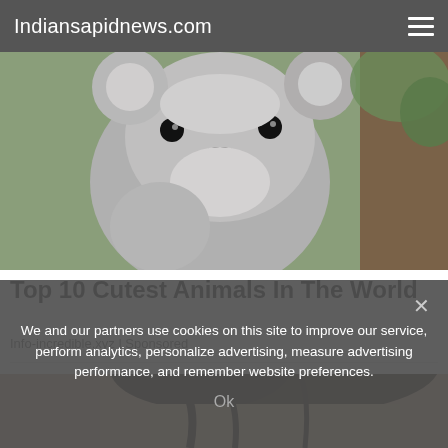Indiansapidnews.com
[Figure (photo): Close-up photo of a koala bear clinging to a tree branch, with blurred green foliage in the background.]
Top 10 Cutest Animals In The World
Info-incredible.xyz | Sponsored
[Figure (photo): Partial photo of a woman's face and hair against a beige/tan background, cropped at the forehead level.]
We and our partners use cookies on this site to improve our service, perform analytics, personalize advertising, measure advertising performance, and remember website preferences.
Ok